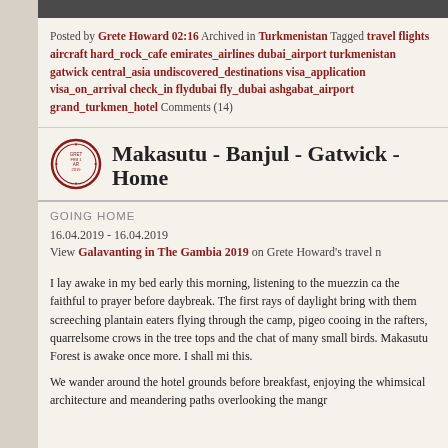Posted by Grete Howard 02:16 Archived in Turkmenistan Tagged travel flights aircraft hard_rock_cafe emirates_airlines dubai_airport turkmenistan gatwick central_asia undiscovered_destinations visa_application visa_on_arrival check_in flydubai fly_dubai ashgabat_airport grand_turkmen_hotel Comments (14)
Makasutu - Banjul - Gatwick - Home
GOING HOME
16.04.2019 - 16.04.2019
View Galavanting in The Gambia 2019 on Grete Howard's travel n
I lay awake in my bed early this morning, listening to the muezzin ca the faithful to prayer before daybreak. The first rays of daylight bring with them screeching plantain eaters flying through the camp, pigeo cooing in the rafters, quarrelsome crows in the tree tops and the chat of many small birds. Makasutu Forest is awake once more. I shall mi this.
We wander around the hotel grounds before breakfast, enjoying the whimsical architecture and meandering paths overlooking the mangr